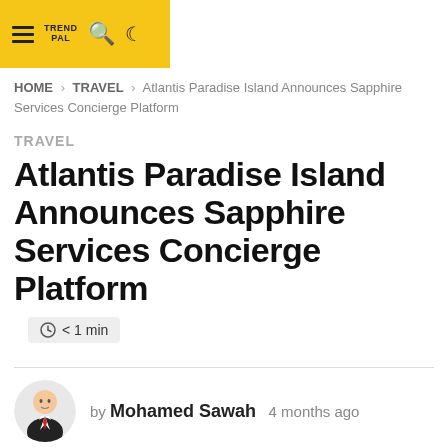TREND PAL [hamburger menu, search, moon icons]
HOME > TRAVEL > Atlantis Paradise Island Announces Sapphire Services Concierge Platform
TRAVEL
Atlantis Paradise Island Announces Sapphire Services Concierge Platform
< 1 min
by Mohamed Sawah  4 months ago
1.4k views
106 shares, 167 points